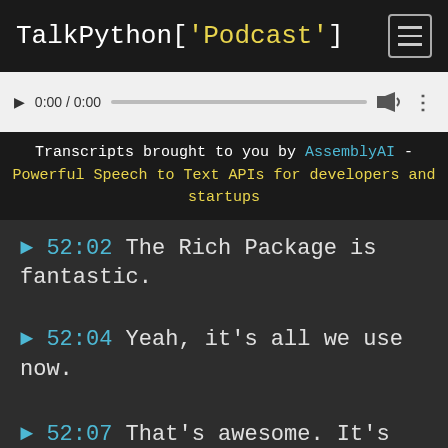TalkPython['Podcast']
[Figure (screenshot): Audio player bar with play button, time display 0:00 / 0:00, progress bar, volume icon, and more options icon]
Transcripts brought to you by AssemblyAI - Powerful Speech to Text APIs for developers and startups
52:02 The Rich Package is fantastic.
52:04 Yeah, it's all we use now.
52:07 That's awesome. It's like, got some crazy new feature every week, pretty much. It's never